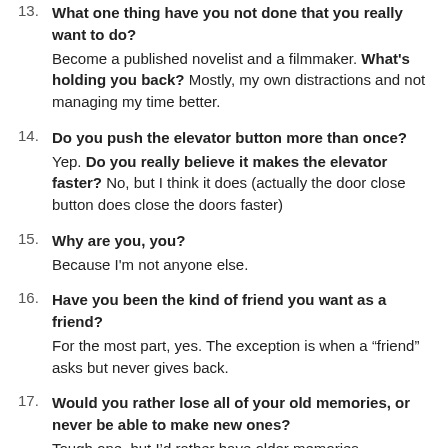13. What one thing have you not done that you really want to do? Become a published novelist and a filmmaker. What's holding you back? Mostly, my own distractions and not managing my time better.
14. Do you push the elevator button more than once? Yep. Do you really believe it makes the elevator faster? No, but I think it does (actually the door close button does close the doors faster)
15. Why are you, you? Because I'm not anyone else.
16. Have you been the kind of friend you want as a friend? For the most part, yes. The exception is when a “friend” asks but never gives back.
17. Would you rather lose all of your old memories, or never be able to make new ones? Tough one, but I'd rather have older memories.
18. Is it possible to know the truth without challenging it